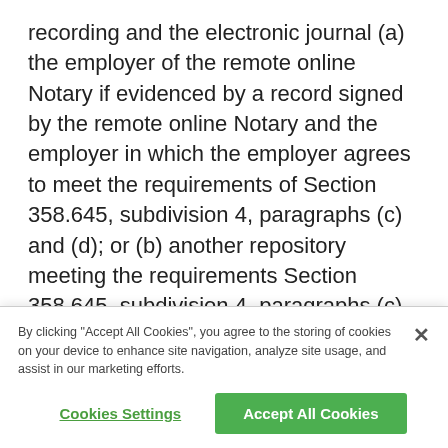recording and the electronic journal (a) the employer of the remote online Notary if evidenced by a record signed by the remote online Notary and the employer in which the employer agrees to meet the requirements of Section 358.645, subdivision 4, paragraphs (c) and (d); or (b) another repository meeting the requirements Section 358.645, subdivision 4, paragraphs (c) and (d).
20. Requires a remote online Notary to verify the identity of a person creating an electronic signature at the time that the signature is
By clicking "Accept All Cookies", you agree to the storing of cookies on your device to enhance site navigation, analyze site usage, and assist in our marketing efforts.